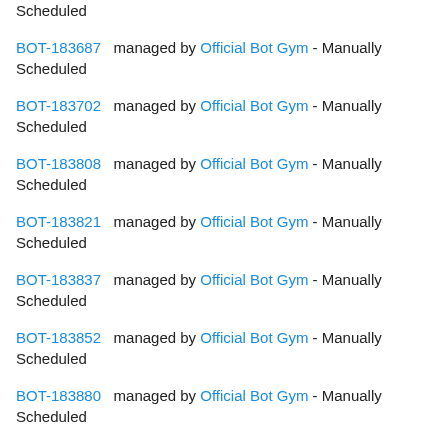Scheduled
BOT-183687 managed by Official Bot Gym - Manually Scheduled
BOT-183702 managed by Official Bot Gym - Manually Scheduled
BOT-183808 managed by Official Bot Gym - Manually Scheduled
BOT-183821 managed by Official Bot Gym - Manually Scheduled
BOT-183837 managed by Official Bot Gym - Manually Scheduled
BOT-183852 managed by Official Bot Gym - Manually Scheduled
BOT-183880 managed by Official Bot Gym - Manually Scheduled